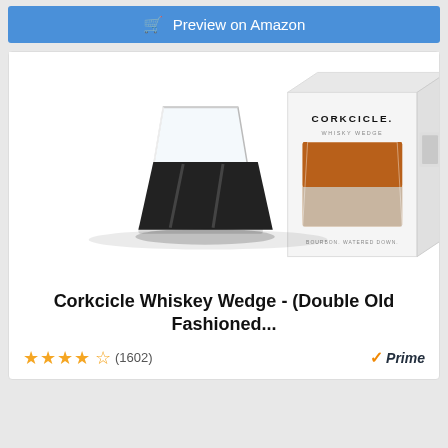[Figure (screenshot): Amazon 'Preview on Amazon' button with shopping cart icon on blue background]
[Figure (photo): Corkcicle Whiskey Wedge product photo showing a square whiskey glass with a black silicone wedge ice mold, alongside the product packaging box (CORKCICLE branded white box with photo of whiskey in wedge glass)]
Corkcicle Whiskey Wedge - (Double Old Fashioned...
★★★★☆ (1602)   Prime